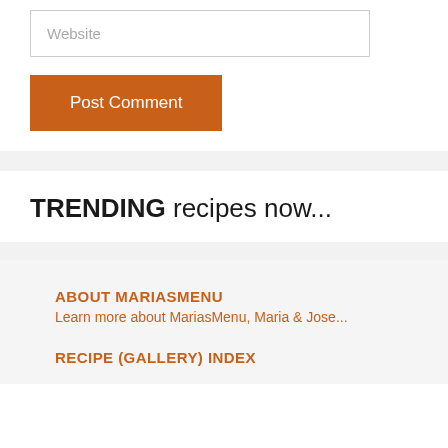Website
Post Comment
TRENDING recipes now...
ABOUT MARIASMENU
Learn more about MariasMenu, Maria & Jose...
RECIPE (GALLERY) INDEX